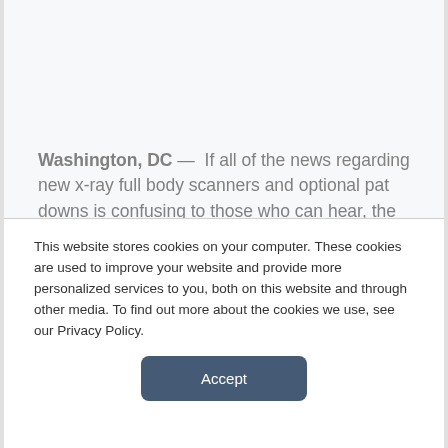Washington, DC — If all of the news regarding new x-ray full body scanners and optional pat downs is confusing to those who can hear, the information can be even more confusing to those with hearing aids.
As a result, the Transportation Security Administration (TSA) has issued the following guidelines for travelers who suffer from hearing loss or have hearing aids. However, even the TSA's
This website stores cookies on your computer. These cookies are used to improve your website and provide more personalized services to you, both on this website and through other media. To find out more about the cookies we use, see our Privacy Policy.